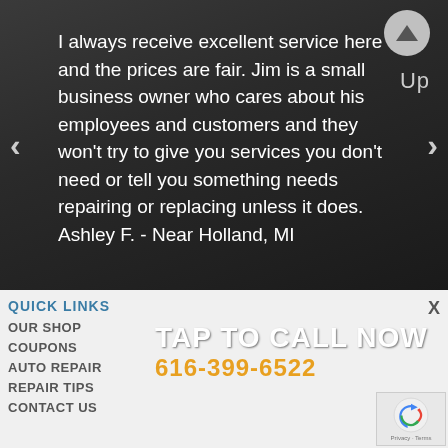I always receive excellent service here and the prices are fair. Jim is a small business owner who cares about his employees and customers and they won't try to give you services you don't need or tell you something needs repairing or replacing unless it does. Ashley F. - Near Holland, MI
QUICK LINKS
OUR SHOP
COUPONS
AUTO REPAIR
REPAIR TIPS
CONTACT US
TAP TO CALL NOW
616-399-6522